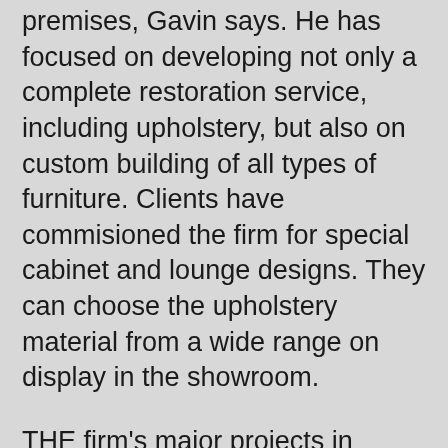premises, Gavin says. He has focused on developing not only a complete restoration service, including upholstery, but also on custom building of all types of furniture. Clients have commisioned the firm for special cabinet and lounge designs. They can choose the upholstery material from a wide range on display in the showroom.
THE firm's major projects in recent years have included the restoration of furniture in the historic colonial residence Whepstead Manor. The project demanded a fine eye for detail because, as Redland Tourism notes, the building of Whepstead was initiated by Gilbert Burnett, manager for Captain Louis Hope, who was the father of Queensland's sugar industry. Whepstead originally became an Ea...